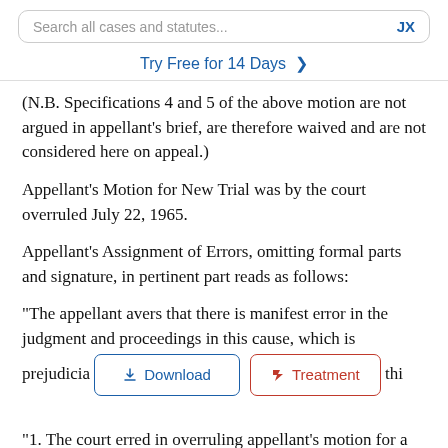Search all cases and statutes...  JX
Try Free for 14 Days >
(N.B. Specifications 4 and 5 of the above motion are not argued in appellant’s brief, are therefore waived and are not considered here on appeal.)
Appellant’s Motion for New Trial was by the court overruled July 22, 1965.
Appellant’s Assignment of Errors, omitting formal parts and signature, in pertinent part reads as follows:
“The appellant avers that there is manifest error in the judgment and proceedings in this cause, which is prejudicia[l to] thi[s appellant]
[Figure (screenshot): Download and Treatment buttons overlaid on text]
“1. The court erred in overruling appellant’s motion for a